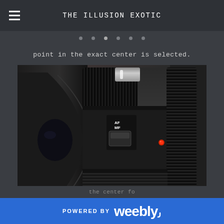THE ILLUSION EXOTIC
point in the exact center is selected.
[Figure (photo): Close-up photograph of a Canon camera lens showing the AF/MF focus switch, zoom ring with ridged grip, focus ring, red dot alignment marker, and Canon logo on the lens barrel. The lens hood is visible on the left side.]
POWERED BY weebly